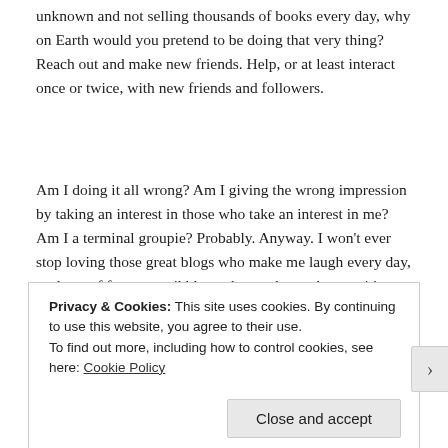unknown and not selling thousands of books every day, why on Earth would you pretend to be doing that very thing? Reach out and make new friends. Help, or at least interact once or twice, with new friends and followers.
Am I doing it all wrong? Am I giving the wrong impression by taking an interest in those who take an interest in me? Am I a terminal groupie? Probably. Anyway. I won't ever stop loving those great blogs who make me laugh every day, or those of famous scribblers who teach me about writing or blogging, and certainly not those of those
Privacy & Cookies: This site uses cookies. By continuing to use this website, you agree to their use.
To find out more, including how to control cookies, see here: Cookie Policy
Close and accept